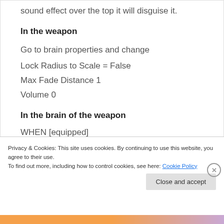sound effect over the top it will disguise it.
In the weapon
Go to brain properties and change
Lock Radius to Scale = False
Max Fade Distance 1
Volume 0
In the brain of the weapon
WHEN [equipped]
…WHEN [Y][pressed] DO [shoot]
Privacy & Cookies: This site uses cookies. By continuing to use this website, you agree to their use.
To find out more, including how to control cookies, see here: Cookie Policy